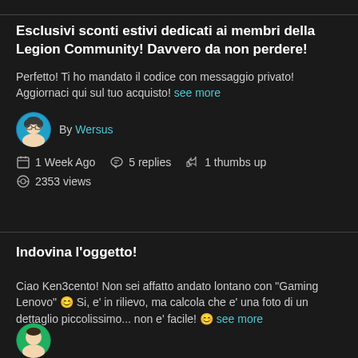Esclusivi sconti estivi dedicati ai membri della Legion Community! Davvero da non perdere!
Perfetto! Ti ho mandato il codice con messaggio privato! Aggiornaci qui sul tuo acquisto! see more
By Wersus
1 Week Ago  5 replies  1 thumbs up  2353 views
Indovina l'oggetto!
Ciao Ken3cento! Non sei affatto andato lontano con "Gaming Lenovo" 😊 Si, e' in rilievo, ma calcola che e' una foto di un dettaglio piccolissimo... non e' facile! 😊 see more